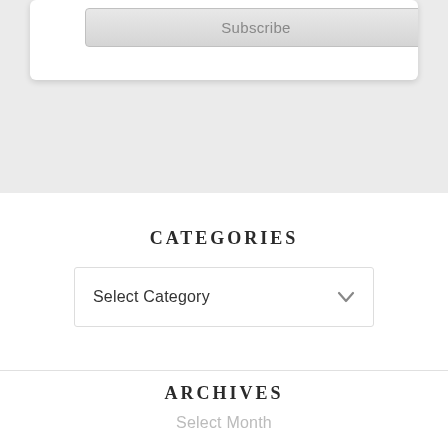[Figure (screenshot): Top section with light gray background containing a Subscribe button inside a white card with shadow]
CATEGORIES
Select Category
ARCHIVES
Select Month